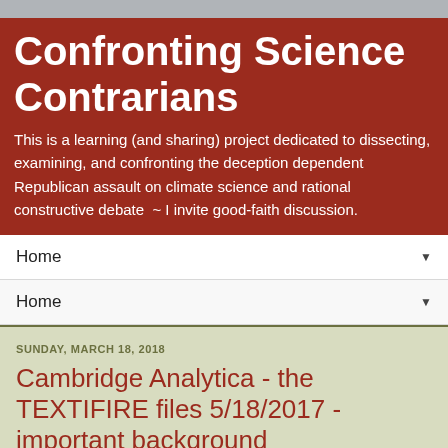Confronting Science Contrarians
This is a learning (and sharing) project dedicated to dissecting, examining, and confronting the deception dependent Republican assault on climate science and rational constructive debate  ~ I invite good-faith discussion.
Home
Home
SUNDAY, MARCH 18, 2018
Cambridge Analytica - the TEXTIFIRE files 5/18/2017 - important background